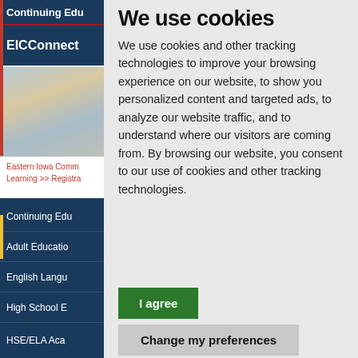Continuing Edu
EICConnect
[Figure (photo): Photo of a building interior with windows]
Eastern Iowa Comm
Learning >> Registra
Continuing Edu
Adult Educatio
English Langu
High School E
HSE/ELA Aca
We use cookies
We use cookies and other tracking technologies to improve your browsing experience on our website, to show you personalized content and targeted ads, to analyze our website traffic, and to understand where our visitors are coming from. By browsing our website, you consent to our use of cookies and other tracking technologies.
I agree
Change my preferences